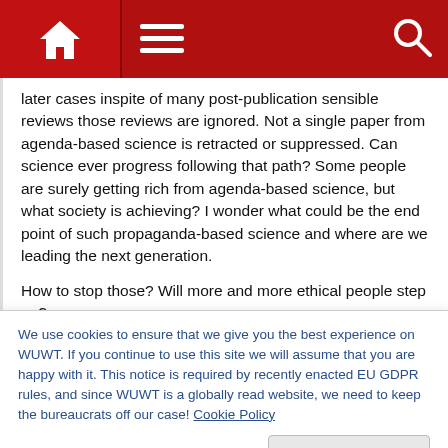Navigation bar with home, menu, and search icons
later cases inspite of many post-publication sensible reviews those reviews are ignored. Not a single paper from agenda-based science is retracted or suppressed. Can science ever progress following that path? Some people are surely getting rich from agenda-based science, but what society is achieving? I wonder what could be the end point of such propaganda-based science and where are we leading the next generation.
How to stop those? Will more and more ethical people step up?
We use cookies to ensure that we give you the best experience on WUWT. If you continue to use this site we will assume that you are happy with it. This notice is required by recently enacted EU GDPR rules, and since WUWT is a globally read website, we need to keep the bureaucrats off our case! Cookie Policy
It's a premeditated corruption of the scientific method.